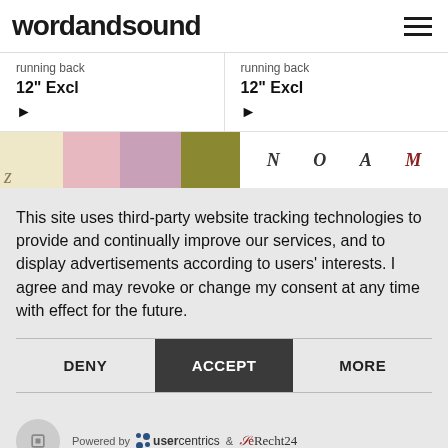wordandsound
running back
12" Excl
running back
12" Excl
[Figure (illustration): Colored stripes (cream, pink, mauve, olive) on left; partial serif letters N O A M on right]
This site uses third-party website tracking technologies to provide and continually improve our services, and to display advertisements according to users' interests. I agree and may revoke or change my consent at any time with effect for the future.
DENY
ACCEPT
MORE
Powered by usercentrics & eRecht24